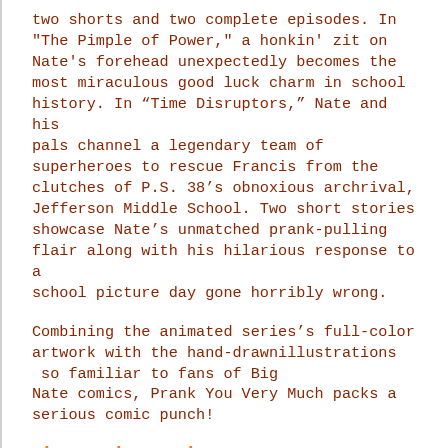two shorts and two complete episodes. In "The Pimple of Power," a honkin' zit on Nate's forehead unexpectedly becomes the most miraculous good luck charm in school history. In “Time Disruptors,” Nate and his pals channel a legendary team of superheroes to rescue Francis from the clutches of P.S. 38’s obnoxious archrival, Jefferson Middle School. Two short stories showcase Nate’s unmatched prank-pulling flair along with his hilarious response to a school picture day gone horribly wrong.
Combining the animated series’s full-color artwork with the hand-drawnillustrations  so familiar to fans of Big Nate comics, Prank You Very Much packs a serious comic punch!
About the Author